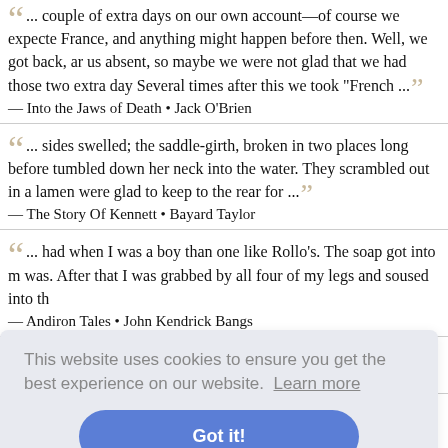... couple of extra days on our own account—of course we expected France, and anything might happen before then. Well, we got back, and us absent, so maybe we were not glad that we had those two extra days. Several times after this we took "French ..."
— Into the Jaws of Death • Jack O'Brien
... sides swelled; the saddle-girth, broken in two places long before tumbled down her neck into the water. They scrambled out in a lame were glad to keep to the rear for ...
— The Story Of Kennett • Bayard Taylor
... had when I was a boy than one like Rollo's. The soap got into m was. After that I was grabbed by all four of my legs and soused into t
— Andiron Tales • John Kendrick Bangs
... the brim with water and then soused it as nearly as he could into
[Figure (screenshot): Cookie consent overlay with text 'This website uses cookies to ensure you get the best experience on our website. Learn more' and a blue 'Got it!' button]
not the plea 're no more what's ...
... story, too," said a laughing great lady when 'twas talked of in tow